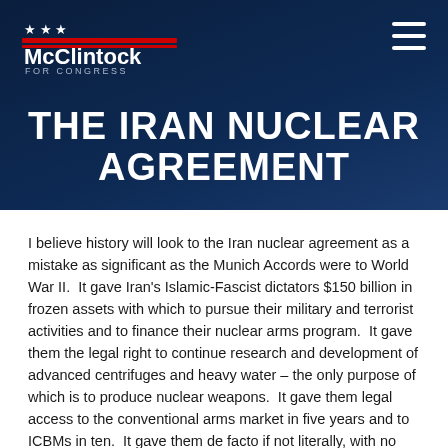McClintock for Congress
THE IRAN NUCLEAR AGREEMENT
I believe history will look to the Iran nuclear agreement as a mistake as significant as the Munich Accords were to World War II.  It gave Iran's Islamic-Fascist dictators $150 billion in frozen assets with which to pursue their military and terrorist activities and to finance their nuclear arms program.  It gave them the legal right to continue research and development of advanced centrifuges and heavy water – the only purpose of which is to produce nuclear weapons.  It gave them legal access to the conventional arms market in five years and to ICBMs in ten.  It gave them de facto if not literally, with no serious...